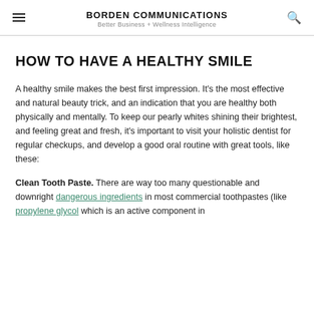BORDEN COMMUNICATIONS
Better Business + Wellness Intelligence
HOW TO HAVE A HEALTHY SMILE
A healthy smile makes the best first impression. It's the most effective and natural beauty trick, and an indication that you are healthy both physically and mentally. To keep our pearly whites shining their brightest, and feeling great and fresh, it's important to visit your holistic dentist for regular checkups, and develop a good oral routine with great tools, like these:
Clean Tooth Paste. There are way too many questionable and downright dangerous ingredients in most commercial toothpastes (like propylene glycol which is an active component in